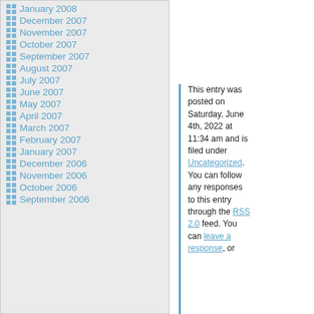January 2008
December 2007
November 2007
October 2007
September 2007
August 2007
July 2007
June 2007
May 2007
April 2007
March 2007
February 2007
January 2007
December 2006
November 2006
October 2006
September 2006
This entry was posted on Saturday, June 4th, 2022 at 11:34 am and is filed under Uncategorized. You can follow any responses to this entry through the RSS 2.0 feed. You can leave a response, or